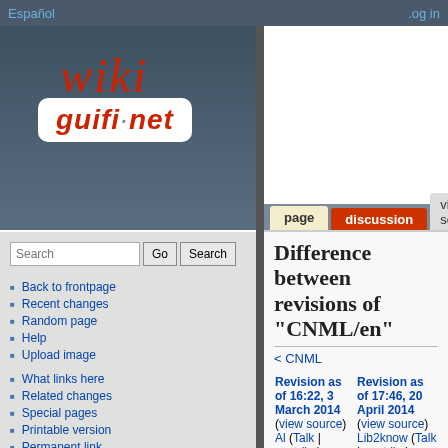Español | .og in
[Figure (logo): Wiki guifi.net logo — italic red 'wiki' text above a white rounded rectangle with 'guifi·net' in red italic bold]
page | discussion | view source
Search Go Search
Back to frontpage
Recent changes
Random page
Help
Upload image
What links here
Related changes
Special pages
Printable version
Permanent link
Page information
Difference between revisions of "CNML/en"
< CNML
| Revision as of 16:22, 3 March 2014 | Revision as of 17:46, 20 April 2014 |
| --- | --- |
| Al (Talk | contribs) | Lib2know (Talk | contribs) |
| m (Al moved page CNML to CNML/en) | m (→internal link) |
| ← Older edit | Newer edit → |
| Line 6: | Line 6: |